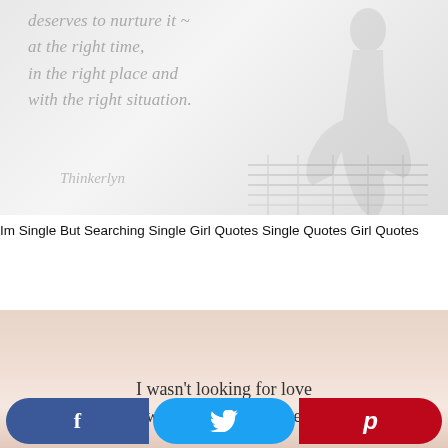[Figure (illustration): Light gray/white background image with faint silhouette of a woman in a dress standing on a wooden dock/pier. Italic quote text overlaid: 'deserves to nurture it ~ at the right time, in the right place and with the right situation.' with attribution 'Thinkerlyn']
Im Single But Searching Single Girl Quotes Single Quotes Girl Quotes
[Figure (illustration): Soft pink/peach gradient background image with partial text visible: 'I wasn't looking for love I was looking for myself']
Facebook share button, Twitter share button, Pinterest share button